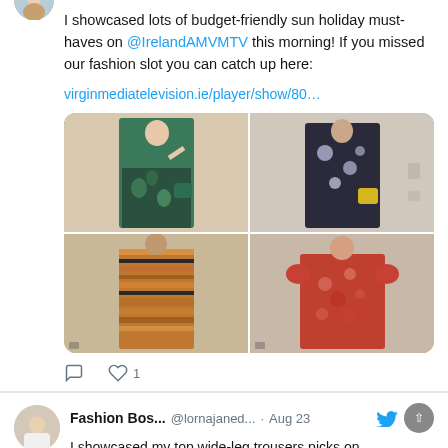[Figure (screenshot): Small avatar image at the top left corner, partially visible]
I showcased lots of budget-friendly sun holiday must-haves on @IrelandAMVMTV this morning! If you missed our fashion slot you can catch up here:
virginmediatelevision.ie/player/show/80…
[Figure (photo): 2x2 grid of fashion photos: top-left shows woman in green top and floral skirt, top-right shows woman in dark floral dress with yellow bag, bottom-left shows woman in orange striped midi dress, bottom-right shows woman in red floral short dress]
1 (like count)
[Figure (photo): Avatar photo of Fashion Bos... account showing woman in white outfit]
Fashion Bos... @lornajaned... · Aug 23 I showcased my top wide-leg trousers picks on @IrelandAMVMTV this morning. All outfit details